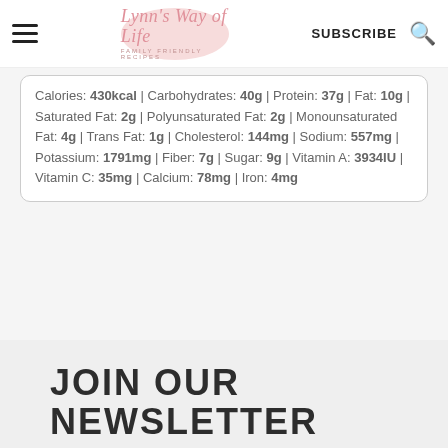Lynn's Way of Life — FAMILY FRIENDLY RECIPES | SUBSCRIBE
Calories: 430kcal | Carbohydrates: 40g | Protein: 37g | Fat: 10g | Saturated Fat: 2g | Polyunsaturated Fat: 2g | Monounsaturated Fat: 4g | Trans Fat: 1g | Cholesterol: 144mg | Sodium: 557mg | Potassium: 1791mg | Fiber: 7g | Sugar: 9g | Vitamin A: 3934IU | Vitamin C: 35mg | Calcium: 78mg | Iron: 4mg
JOIN OUR NEWSLETTER